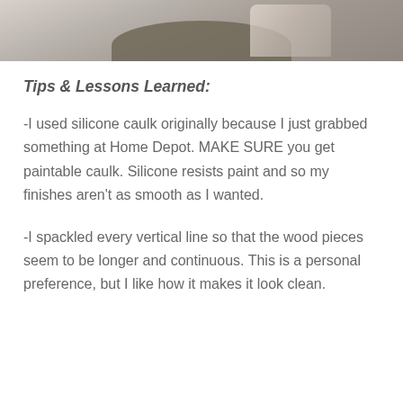[Figure (photo): Partial photo of a person's arm/shoulder against a gray background, cropped at top of page]
Tips & Lessons Learned:
-I used silicone caulk originally because I just grabbed something at Home Depot. MAKE SURE you get paintable caulk. Silicone resists paint and so my finishes aren't as smooth as I wanted.
-I spackled every vertical line so that the wood pieces seem to be longer and continuous. This is a personal preference, but I like how it makes it look clean.